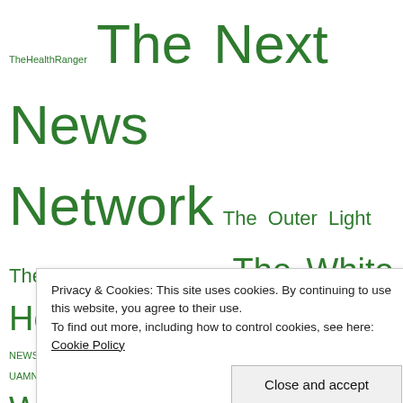TheHealthRanger The Next News Network
The Outer Light  The Richie Allen Show  The White House  ThirdPhaseOfMoon  Thoughts  trump  TRUMPET NEWS  Truth and Art TV  UAMN TV  US  VAXXED TV  Victurus Libertas VLTV  whatdoesitmean  William Mount  William Mount 2  X22Report
UPCOMING EVENTS
Digital Commodities Consumer Protection Act to Provide Oversight of Digital Assets
Sep 1, 2022 – Sep 10, 2022
Privacy & Cookies: This site uses cookies. By continuing to use this website, you agree to their use. To find out more, including how to control cookies, see here: Cookie Policy
Close and accept